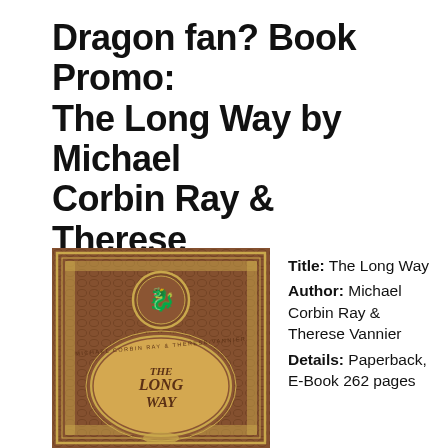Dragon fan? Book Promo: The Long Way by Michael Corbin Ray & Therese Vannier
[Figure (photo): Book cover of 'The Long Way' by Michael Corbin Ray & Therese Vannier. Brown leather-style cover with gold decorative border and circular medallion with dragon emblem at top. Central gold oval with ornate frame displays 'THE LONG WAY' in large text, with author names in curved text around the oval.]
Title: The Long Way
Author: Michael Corbin Ray & Therese Vannier
Details: Paperback, E-Book 262 pages